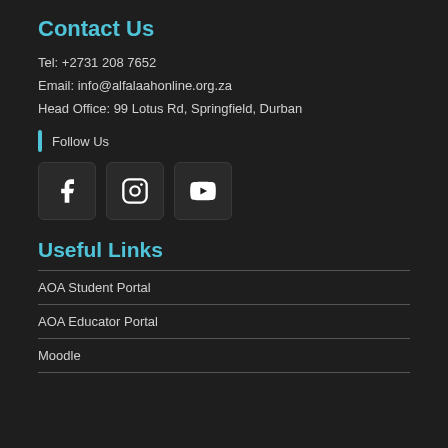Contact Us
Tel: +2731 208 7652
Email: info@alfalaahonline.org.za
Head Office: 99 Lotus Rd, Springfield, Durban
Follow Us
[Figure (illustration): Three social media icon buttons: Facebook, Instagram, YouTube]
Useful Links
AOA Student Portal
AOA Educator Portal
Moodle